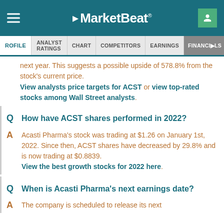MarketBeat
PROFILE | ANALYST RATINGS | CHART | COMPETITORS | EARNINGS | FINANCIALS
next year. This suggests a possible upside of 578.8% from the stock's current price. View analysts price targets for ACST or view top-rated stocks among Wall Street analysts.
How have ACST shares performed in 2022?
Acasti Pharma's stock was trading at $1.26 on January 1st, 2022. Since then, ACST shares have decreased by 29.8% and is now trading at $0.8839. View the best growth stocks for 2022 here.
When is Acasti Pharma's next earnings date?
The company is scheduled to release its next